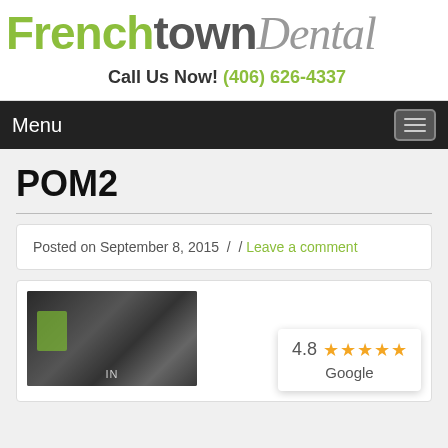[Figure (logo): Frenchtown Dental logo in large text — 'French' in green bold, 'town' in dark bold, 'Dental' in gray italic script]
Call Us Now! (406) 626-4337
Menu
POM2
Posted on September 8, 2015  /  / Leave a comment
[Figure (photo): Dark photo of a dental procedure or person, partially visible, with some green element visible]
[Figure (infographic): Google rating widget showing 4.8 stars out of 5 with orange star icons and 'Google' label below]